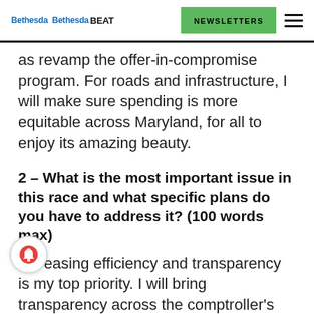Bethesda Bethesda BEAT | NEWSLETTERS
as revamp the offer-in-compromise program. For roads and infrastructure, I will make sure spending is more equitable across Maryland, for all to enjoy its amazing beauty.
2 – What is the most important issue in this race and what specific plans do you have to address it? (100 words max)
Increasing efficiency and transparency is my top priority. I will bring transparency across the comptroller's office, not just in the